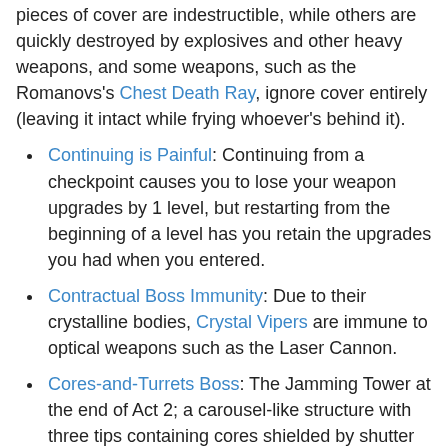pieces of cover are indestructible, while others are quickly destroyed by explosives and other heavy weapons, and some weapons, such as the Romanovs's Chest Death Ray, ignore cover entirely (leaving it intact while frying whoever's behind it).
Continuing is Painful: Continuing from a checkpoint causes you to lose your weapon upgrades by 1 level, but restarting from the beginning of a level has you retain the upgrades you had when you entered.
Contractual Boss Immunity: Due to their crystalline bodies, Crystal Vipers are immune to optical weapons such as the Laser Cannon.
Cores-and-Turrets Boss: The Jamming Tower at the end of Act 2; a carousel-like structure with three tips containing cores shielded by shutter doors, and armed with cannons, purple death lasers, gatling guns, and missile batteries.
Corridor Cubbyhole Run: In Act 2-5, you must ascend a ramp while chunks of debris, and occasionally entire